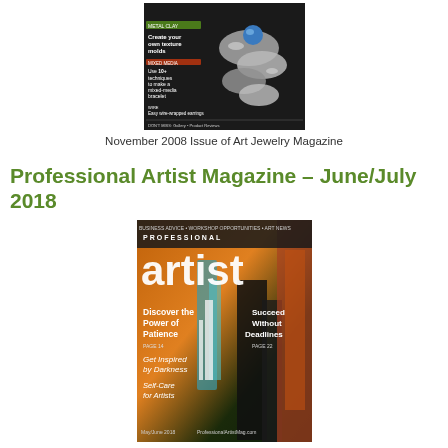[Figure (photo): Cover of November 2008 Issue of Art Jewelry Magazine showing silver metal clay jewelry with a blue stone, on dark background with text overlays about metal clay techniques and wire-wrapped earrings]
November 2008 Issue of Art Jewelry Magazine
Professional Artist Magazine – June/July 2018
[Figure (photo): Cover of Professional Artist Magazine June/July 2018 issue showing colorful abstract painting in orange, teal, black and white, with text: Discover the Power of Patience, Get Inspired by Darkness, Self-Care for Artists, Succeed Without Deadlines]
Professional Artist Magazine - June/July 2018